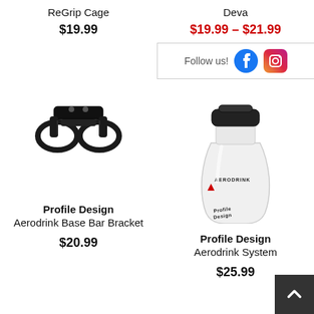ReGrip Cage
$19.99
Deva
$19.99 – $21.99
Follow us!
[Figure (photo): Black carbon fiber bicycle bottle cage bracket – Profile Design Aerodrink Base Bar Bracket]
[Figure (photo): White Profile Design Aerodrink System water bottle with black lid]
Profile Design Aerodrink Base Bar Bracket
$20.99
Profile Design Aerodrink System
$25.99